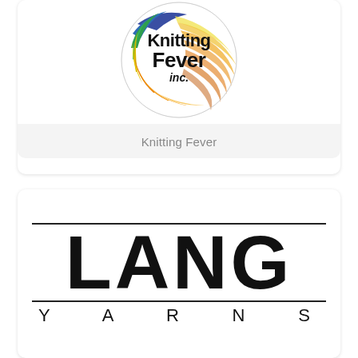[Figure (logo): Knitting Fever Inc. circular logo with colorful yarn ball and rainbow colors]
Knitting Fever
[Figure (logo): LANG YARNS logo with large bold LANG text between two horizontal lines and YARNS in spaced capitals below]